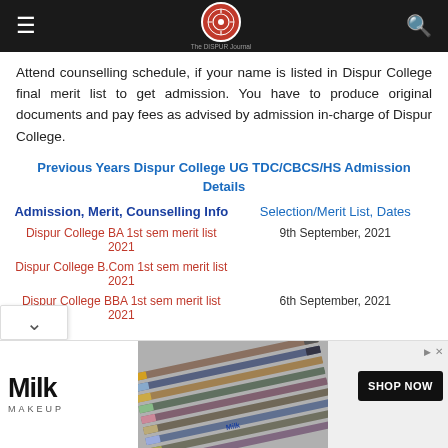Navigation bar with hamburger menu, logo, and search icon
Attend counselling schedule, if your name is listed in Dispur College final merit list to get admission. You have to produce original documents and pay fees as advised by admission in-charge of Dispur College.
Previous Years Dispur College UG TDC/CBCS/HS Admission Details
| Admission, Merit, Counselling Info | Selection/Merit List, Dates |
| --- | --- |
| Dispur College BA 1st sem merit list 2021 | 9th September, 2021 |
| Dispur College B.Com 1st sem merit list 2021 |  |
| Dispur College BBA 1st sem merit list 2021 | 6th September, 2021 |
[Figure (screenshot): Milk Makeup advertisement banner with pencils/makeup products image and SHOP NOW button]